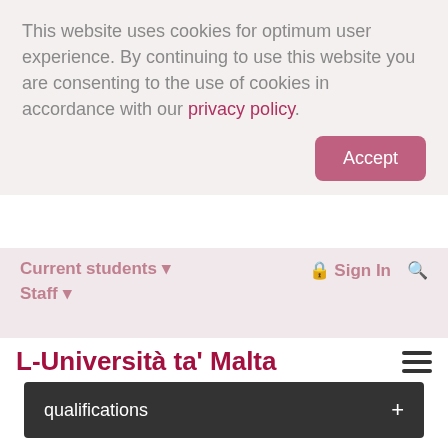This website uses cookies for optimum user experience. By continuing to use this website you are consenting to the use of cookies in accordance with our privacy policy.
Accept
Current students ▾    Sign In  🔍
Staff ▾
L-Università ta' Malta
qualifications
Fees and funding